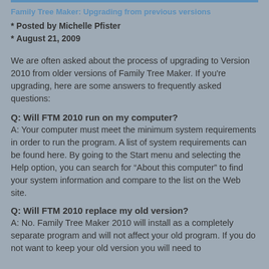Family Tree Maker: Upgrading from previous versions
* Posted by Michelle Pfister
* August 21, 2009
We are often asked about the process of upgrading to Version 2010 from older versions of Family Tree Maker. If you're upgrading, here are some answers to frequently asked questions:
Q: Will FTM 2010 run on my computer?
A: Your computer must meet the minimum system requirements in order to run the program. A list of system requirements can be found here. By going to the Start menu and selecting the Help option, you can search for “About this computer” to find your system information and compare to the list on the Web site.
Q: Will FTM 2010 replace my old version?
A: No. Family Tree Maker 2010 will install as a completely separate program and will not affect your old program. If you do not want to keep your old version you will need to